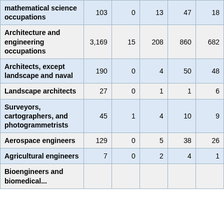| mathematical science occupations | 103 | 0 | 13 | 47 | 18 |
| Architecture and engineering occupations | 3,169 | 15 | 208 | 860 | 682 |
| Architects, except landscape and naval | 190 | 0 | 4 | 50 | 48 |
| Landscape architects | 27 | 0 | 1 | 1 | 6 |
| Surveyors, cartographers, and photogrammetrists | 45 | 1 | 4 | 10 | 9 |
| Aerospace engineers | 129 | 0 | 5 | 38 | 26 |
| Agricultural engineers | 7 | 0 | 2 | 4 | 1 |
| Bioengineers and biomedical... | 11 | 0 | ... | 41 | ... |